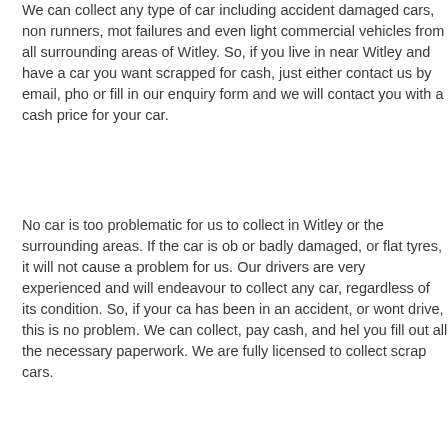We can collect any type of car including accident damaged cars, non runners, mot failures and even light commercial vehicles from all surrounding areas of Witley. So, if you live in near Witley and have a car you want scrapped for cash, just either contact us by email, pho or fill in our enquiry form and we will contact you with a cash price for your car.
No car is too problematic for us to collect in Witley or the surrounding areas. If the car is ob or badly damaged, or flat tyres, it will not cause a problem for us. Our drivers are very experienced and will endeavour to collect any car, regardless of its condition. So, if your ca has been in an accident, or wont drive, this is no problem. We can collect, pay cash, and hel you fill out all the necessary paperwork. We are fully licensed to collect scrap cars.